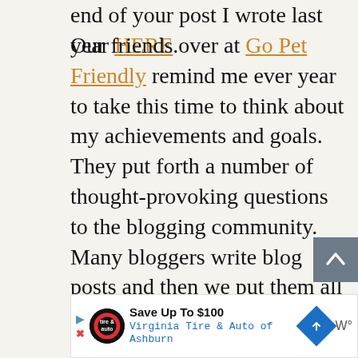end of your post I wrote last year HERE.
Our friends over at Go Pet Friendly remind me ever year to take this time to think about my achievements and goals. They put forth a number of thought-provoking questions to the blogging community. Many bloggers write blog posts and then we put them all in one location to make reading answers from each blogger easy to find. Click HERE if you want to see what's been up with some of your other favorite bloggers (or discover a
[Figure (other): Back to top button - dark grey square with white upward chevron arrow]
[Figure (other): Advertisement banner: Save Up To $100 - Virginia Tire & Auto of Ashburn, with tire/auto logo, blue navigation diamond icon, and W° icon]